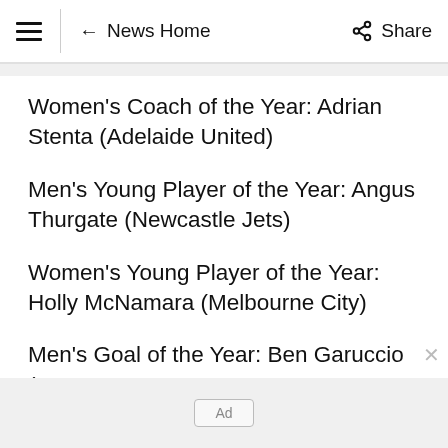≡ | ← News Home   Share
Women's Coach of the Year: Adrian Stenta (Adelaide United)
Men's Young Player of the Year: Angus Thurgate (Newcastle Jets)
Women's Young Player of the Year: Holly McNamara (Melbourne City)
Men's Goal of the Year: Ben Garuccio (Western
Ad